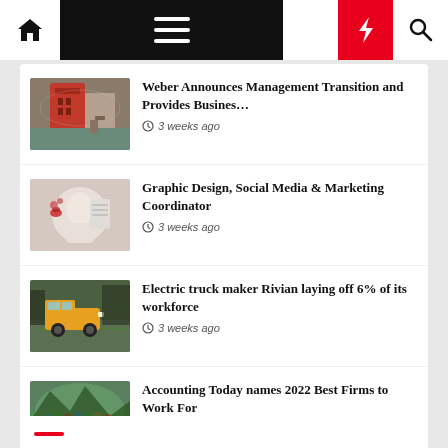Navigation bar with home, menu, moon, bolt, search icons
Weber Announces Management Transition and Provides Busines… — 3 weeks ago
Graphic Design, Social Media & Marketing Coordinator — 3 weeks ago
Electric truck maker Rivian laying off 6% of its workforce — 3 weeks ago
Accounting Today names 2022 Best Firms to Work For — 3 weeks ago